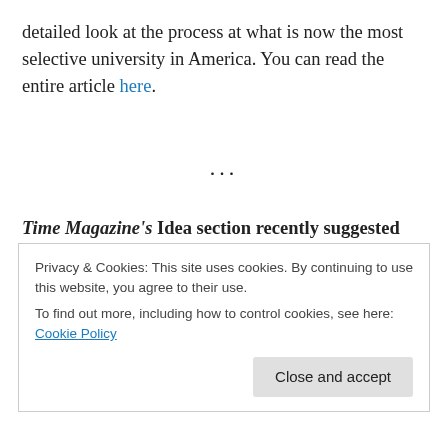detailed look at the process at what is now the most selective university in America. You can read the entire article here.
...
Time Magazine's Idea section recently suggested three things that schools can do to better help boys succeed. Quoted is psychologist Michael Thompson, who I think hits the nail on the head when he said, “Girl behavior is the gold standard in schools. Boys are treated like defective girls.” The three suggestions are:
Privacy & Cookies: This site uses cookies. By continuing to use this website, you agree to their use.
To find out more, including how to control cookies, see here: Cookie Policy